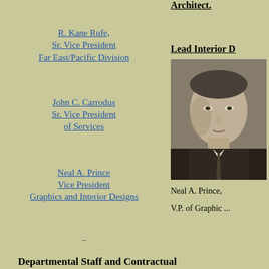Architect.
R. Kane Rufe,
Sr. Vice President
Far East/Pacific Division
Lead Interior D
[Figure (photo): Black and white portrait photograph of Neal A. Prince, a middle-aged man in a dark suit.]
Neal A. Prince,
V.P. of Graphic ...
John C. Carrodus
Sr. Vice President
of Services
Neal A. Prince
Vice President
Graphics and Interior Designs
-
Departmental Staff and Contractual